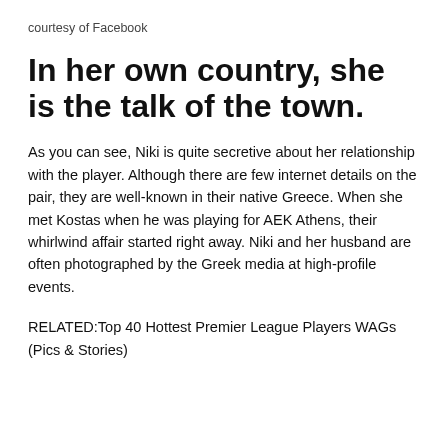courtesy of Facebook
In her own country, she is the talk of the town.
As you can see, Niki is quite secretive about her relationship with the player. Although there are few internet details on the pair, they are well-known in their native Greece. When she met Kostas when he was playing for AEK Athens, their whirlwind affair started right away. Niki and her husband are often photographed by the Greek media at high-profile events.
RELATED:Top 40 Hottest Premier League Players WAGs (Pics & Stories)